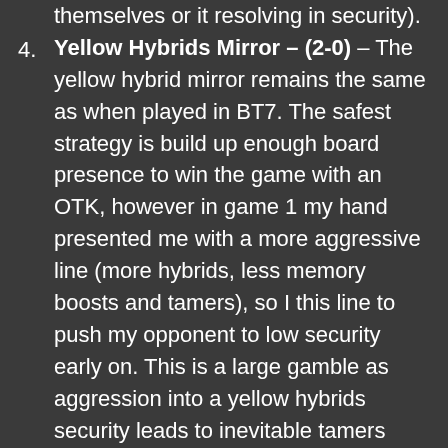themselves or it resolving in security).
Yellow Hybrids Mirror – (2-0) – The yellow hybrid mirror remains the same as when played in BT7. The safest strategy is build up enough board presence to win the game with an OTK, however in game 1 my hand presented me with a more aggressive line (more hybrids, less memory boosts and tamers), so I this line to push my opponent to low security early on. This is a large gamble as aggression into a yellow hybrids security leads to inevitable tamers being played for free, even more so when the mirrors run a large amount of the Dual tamer TK& Kari. This allowed my opponent to make large